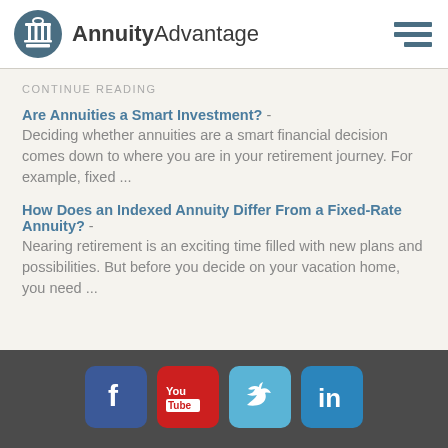[Figure (logo): AnnuityAdvantage logo with column icon in dark teal circle and text 'AnnuityAdvantage']
CONTINUE READING
Are Annuities a Smart Investment? - Deciding whether annuities are a smart financial decision comes down to where you are in your retirement journey. For example, fixed ...
How Does an Indexed Annuity Differ From a Fixed-Rate Annuity? - Nearing retirement is an exciting time filled with new plans and possibilities. But before you decide on your vacation home, you need ...
[Figure (infographic): Social media icons: Facebook (blue), YouTube (red), Twitter (light blue), LinkedIn (blue)]